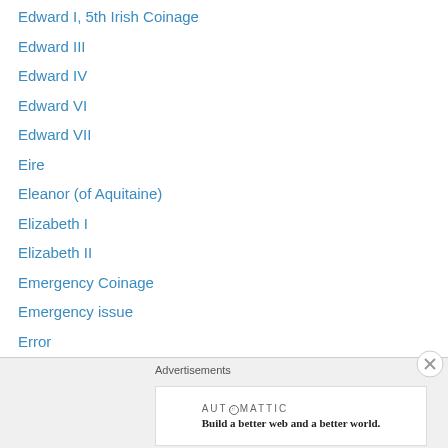Edward I, 5th Irish Coinage
Edward III
Edward IV
Edward VI
Edward VII
Eire
Eleanor (of Aquitaine)
Elizabeth I
Elizabeth II
Emergency Coinage
Emergency issue
Error
euro
Euro Proof Set
European
Exchange Rate (Gold-Silver)
Advertisements
AUT⊙MATTIC
Build a better web and a better world.